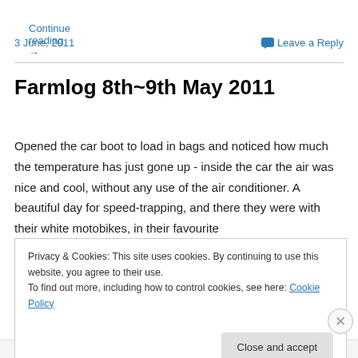Continue reading →
3 June, 2011    💬 Leave a Reply
Farmlog 8th~9th May 2011
Opened the car boot to load in bags and noticed how much the temperature has just gone up - inside the car the air was nice and cool, without any use of the air conditioner. A beautiful day for speed-trapping, and there they were with their white motobikes, in their favourite
Privacy & Cookies: This site uses cookies. By continuing to use this website, you agree to their use. To find out more, including how to control cookies, see here: Cookie Policy
Close and accept
Advertisements